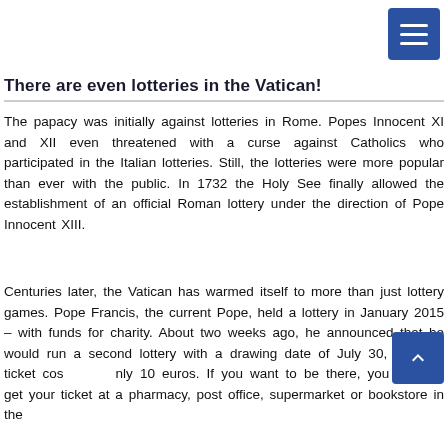There are even lotteries in the Vatican!
The papacy was initially against lotteries in Rome. Popes Innocent XI and XII even threatened with a curse against Catholics who participated in the Italian lotteries. Still, the lotteries were more popular than ever with the public. In 1732 the Holy See finally allowed the establishment of an official Roman lottery under the direction of Pope Innocent XIII.
Centuries later, the Vatican has warmed itself to more than just lottery games. Pope Francis, the current Pope, held a lottery in January 2015 – with funds for charity. About two weeks ago, he announced that he would run a second lottery with a drawing date of July 30, 2020. A ticket costs only 10 euros. If you want to be there, you have to get your ticket at a pharmacy, post office, supermarket or bookstore in the